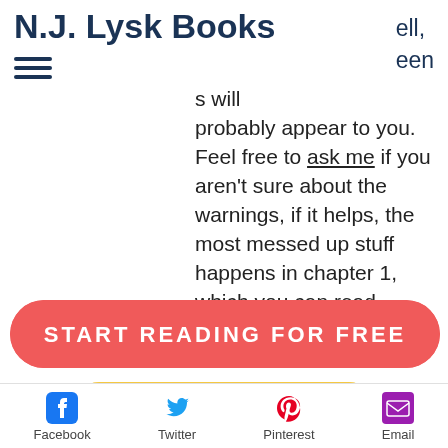N.J. Lysk Books
s will probably appear to you. Feel free to ask me if you aren't sure about the warnings, if it helps, the most messed up stuff happens in chapter 1, which you can read below.
[Figure (infographic): Red rounded button with white bold uppercase text: START READING FOR FREE]
[Figure (infographic): Yellow rounded button with italic text: Pre-order on Amazon]
[Figure (infographic): Red rounded button partially visible at bottom]
[Figure (infographic): Social share bar with Facebook, Twitter, Pinterest, Email icons and labels]